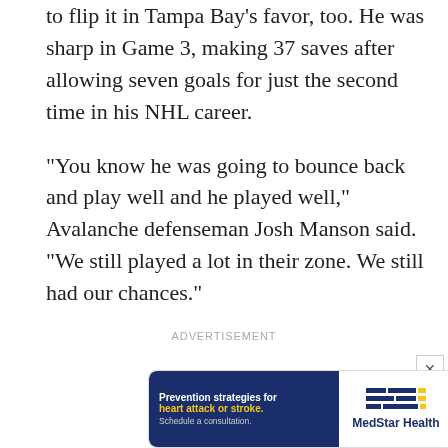to flip it in Tampa Bay's favor, too. He was sharp in Game 3, making 37 saves after allowing seven goals for just the second time in his NHL career.
“You know he was going to bounce back and play well and he played well,” Avalanche defenseman Josh Manson said. “We still played a lot in their zone. We still had our chances.”
ADVERTISEMENT
[Figure (other): MedStar Health advertisement banner with text: Prevention strategies for heart attack or stroke. Schedule a consultation.]